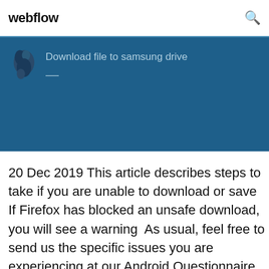webflow
[Figure (screenshot): Blue banner with a small bird/logo icon and text 'Download file to samsung drive']
20 Dec 2019 This article describes steps to take if you are unable to download or save If Firefox has blocked an unsafe download, you will see a warning  As usual, feel free to send us the specific issues you are experiencing at our Android Questionnaire form.KPCB Internet Trends 2013https://slideshare.net/kleinerperkins/kpcb